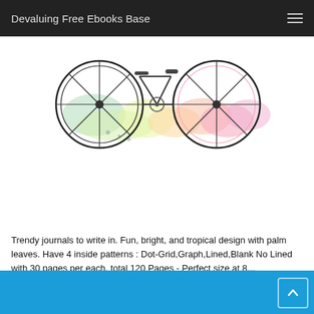Devaluing Free Ebooks Base
[Figure (illustration): Watercolor illustration of bicycles with colorful splashes in green, yellow, orange, and pink tones]
Notebook: Journal Dot-Grid,graph,lined,blank No Lined : Riding A Bike : Notebook Journal Diary, 120 Pages, 8" X 10" (Blank Notebook Journal) PDF
Trendy journals to write in. Fun, bright, and tropical design with palm leaves. Have 4 inside patterns : Dot-Grid,Graph,Lined,Blank No Lined with 30 pages per each, total 120 Pages - Perfect size at 8...
[Figure (screenshot): Blue banner at bottom of page with a back-to-top arrow button]